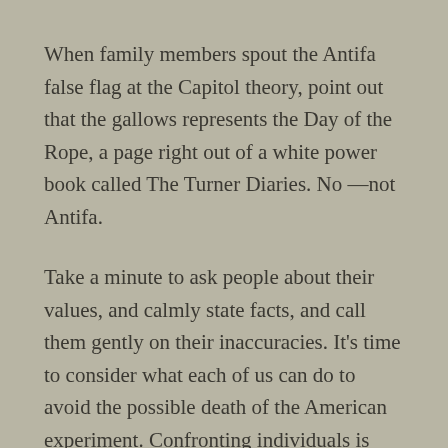When family members spout the Antifa false flag at the Capitol theory, point out that the gallows represents the Day of the Rope, a page right out of a white power book called The Turner Diaries. No —not Antifa.
Take a minute to ask people about their values, and calmly state facts, and call them gently on their inaccuracies. It's time to consider what each of us can do to avoid the possible death of the American experiment. Confronting individuals is just one way.